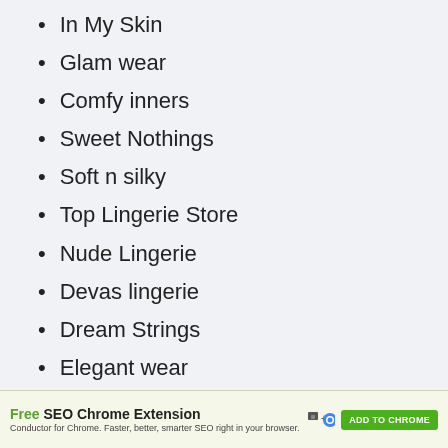In My Skin
Glam wear
Comfy inners
Sweet Nothings
Soft n silky
Top Lingerie Store
Nude Lingerie
Devas lingerie
Dream Strings
Elegant wear
Ebony Bra
Sugar Baby Undies
Free SEO Chrome Extension — Conductor for Chrome. Faster, better, smarter SEO right in your browser. ADD TO CHROME